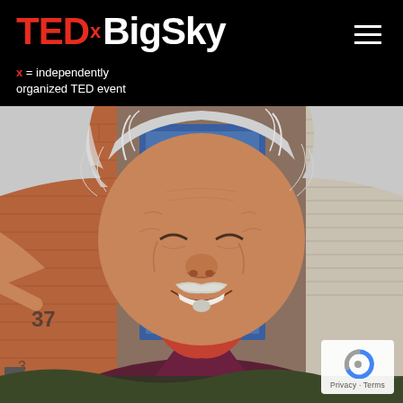TEDxBigSky — x = independently organized TED event
[Figure (photo): Close-up photograph of an elderly man with wild white hair and a white mustache, smiling broadly. He is wearing a colorful patterned neck gaiter/mask pulled down and a dark burgundy/maroon v-neck sweater over a striped shirt. A brick building with a blue door and the number 37 is visible in the background.]
Privacy · Terms